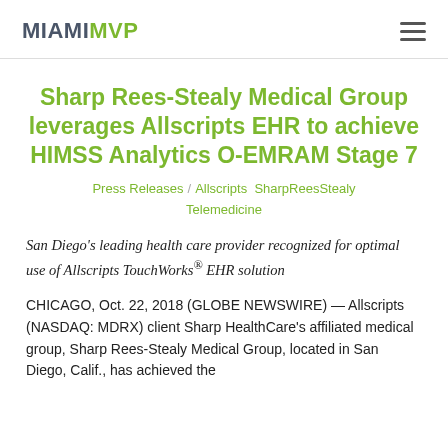MIAMIMVP
Sharp Rees-Stealy Medical Group leverages Allscripts EHR to achieve HIMSS Analytics O-EMRAM Stage 7
Press Releases / Allscripts SharpReesStealy Telemedicine
San Diego's leading health care provider recognized for optimal use of Allscripts TouchWorks® EHR solution
CHICAGO, Oct. 22, 2018 (GLOBE NEWSWIRE) — Allscripts (NASDAQ: MDRX) client Sharp HealthCare's affiliated medical group, Sharp Rees-Stealy Medical Group, located in San Diego, Calif., has achieved the